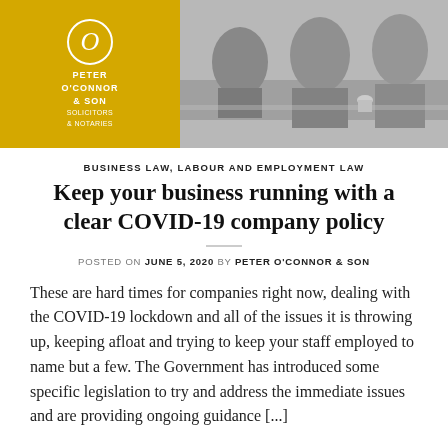[Figure (photo): Law firm header image: left side shows Peter O'Connor & Son Solicitors & Notaries logo on gold/yellow background with circle 'O' mark; right side shows grayscale photo of business professionals at a meeting table.]
BUSINESS LAW, LABOUR AND EMPLOYMENT LAW
Keep your business running with a clear COVID-19 company policy
POSTED ON JUNE 5, 2020 BY PETER O'CONNOR & SON
These are hard times for companies right now, dealing with the COVID-19 lockdown and all of the issues it is throwing up, keeping afloat and trying to keep your staff employed to name but a few. The Government has introduced some specific legislation to try and address the immediate issues and are providing ongoing guidance [...]